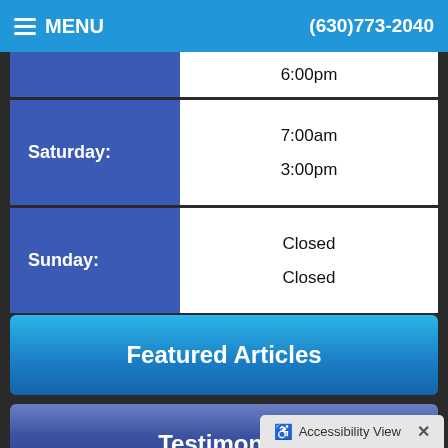MENU  (630)773-2040
| Day | Open | Close |
| --- | --- | --- |
| (partial row) | 6:00pm |  |
| Saturday: | 7:00am | 3:00pm |
| Sunday: | Closed | Closed |
Featured Articles
Testimonial
Accessibility View